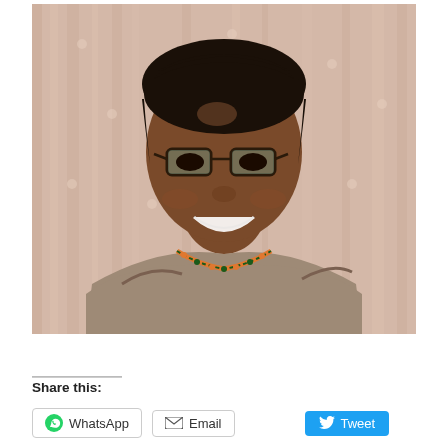[Figure (photo): A smiling young woman wearing glasses and a grey off-shoulder blouse with colorful neckline embroidery, posed in front of beige curtains with a floral pattern.]
Share this:
WhatsApp
Email
Tweet